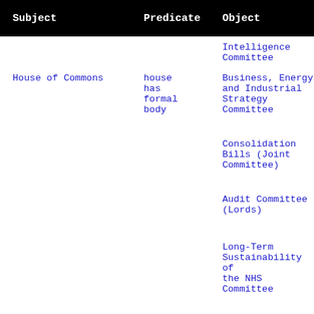| Subject | Predicate | Object |
| --- | --- | --- |
|  |  | Intelligence Committee |
| House of Commons | house has formal body | Business, Energy and Industrial Strategy Committee |
|  |  | Consolidation Bills (Joint Committee) |
|  |  | Audit Committee (Lords) |
|  |  | Long-Term Sustainability of the NHS Committee |